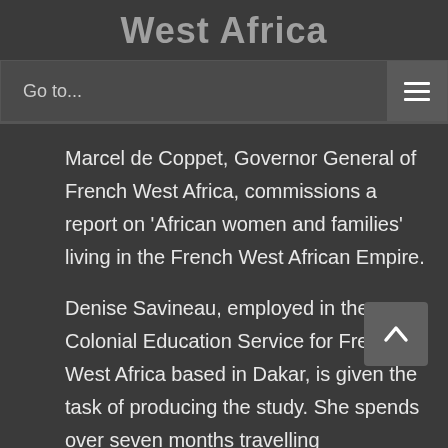West Africa
Go to...
Marcel de Coppet, Governor General of French West Africa, commissions a report on ‘African women and families’ living in the French West African Empire.
Denise Savineau, employed in the Colonial Education Service for French West Africa based in Dakar, is given the task of producing the study. She spends over seven months travelling